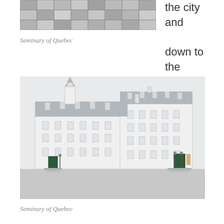[Figure (photo): Close-up aerial or overhead photo of cobblestone or paving stone pavement with a checkerboard-like pattern of stone tiles]
the city and down to the
Seminary of Quebec
[Figure (photo): Exterior view of the Seminary of Quebec, a large historic white building with a steep grey roof, dormer windows, a clock tower/steeple, and a courtyard in front]
Seminary of Quebec